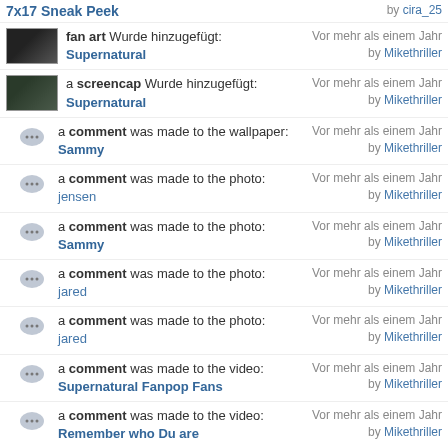7x17 Sneak Peek | by cira_25
fan art Wurde hinzugefügt: Supernatural | Vor mehr als einem Jahr by Mikethriller
a screencap Wurde hinzugefügt: Supernatural | Vor mehr als einem Jahr by Mikethriller
a comment was made to the wallpaper: Sammy | Vor mehr als einem Jahr by Mikethriller
a comment was made to the photo: jensen | Vor mehr als einem Jahr by Mikethriller
a comment was made to the photo: Sammy | Vor mehr als einem Jahr by Mikethriller
a comment was made to the photo: jared | Vor mehr als einem Jahr by Mikethriller
a comment was made to the photo: jared | Vor mehr als einem Jahr by Mikethriller
a comment was made to the video: Supernatural Fanpop Fans | Vor mehr als einem Jahr by Mikethriller
a comment was made to the video: Remember who Du are | Vor mehr als einem Jahr by Mikethriller
a comment was made to the video: Supernatural boys boys boys | Vor mehr als einem Jahr by Mikethriller
an icon Wurde hinzugefügt: Jensen/Dean | Vor mehr als einem Jahr by Mikethriller
an article Wurde hinzugefügt: Facts about Spn 5 | Vor mehr als einem Jahr by Mikethriller
an article Wurde hinzugefügt: Facts ... | Vor mehr als einem Jahr by Mikethriller